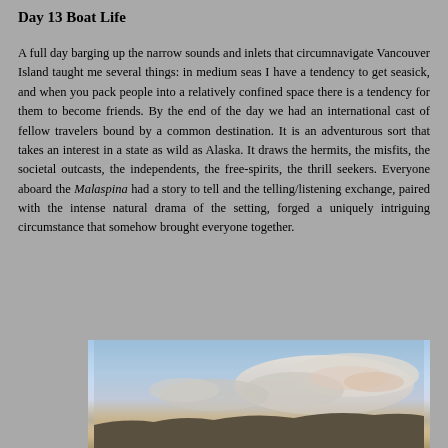Day 13 Boat Life
A full day barging up the narrow sounds and inlets that circumnavigate Vancouver Island taught me several things: in medium seas I have a tendency to get seasick, and when you pack people into a relatively confined space there is a tendency for them to become friends. By the end of the day we had an international cast of fellow travelers bound by a common destination. It is an adventurous sort that takes an interest in a state as wild as Alaska. It draws the hermits, the misfits, the societal outcasts, the independents, the free-spirits, the thrill seekers. Everyone aboard the Malaspina had a story to tell and the telling/listening exchange, paired with the intense natural drama of the setting, forged a uniquely intriguing circumstance that somehow brought everyone together.
[Figure (photo): A photograph of a sunset or dusk sky with dramatic clouds, blue sky fading to warm orange and gold tones near the horizon, silhouette of landscape at the bottom.]